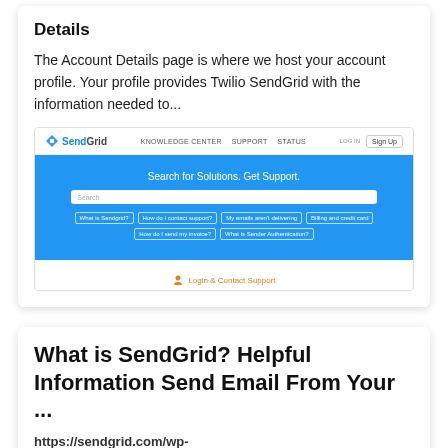Details
The Account Details page is where we host your account profile. Your profile provides Twilio SendGrid with the information needed to...
[Figure (screenshot): Screenshot of the Twilio SendGrid support page showing a navigation bar with logo, KNOWLEDGE CENTER, SUPPORT, STATUS links, and a blue hero section with 'Search for Solutions. Get Support.' heading, a search bar, and several pill-shaped quick-link buttons like 'What is Sendgrid?', 'How do I contact support?', 'My emails aren't delivering', 'Billing and credit card', 'How do I send my invoice?', 'What is Sender Authentication?'. At the bottom a 'Login & Contact Support' link with an icon.]
What is SendGrid? Helpful Information Send Email From Your ...
https://sendgrid.com/wp-